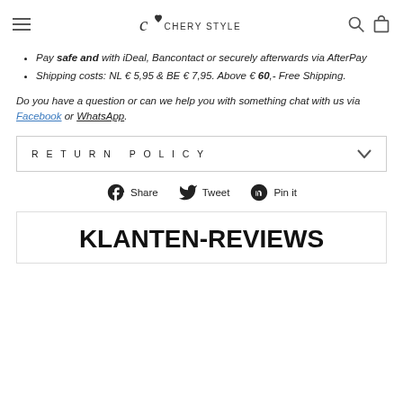CHERY STYLE
Pay safe and with iDeal, Bancontact or securely afterwards via AfterPay
Shipping costs: NL € 5,95 & BE € 7,95. Above € 60,- Free Shipping.
Do you have a question or can we help you with something chat with us via Facebook or WhatsApp.
RETURN POLICY
Share  Tweet  Pin it
KLANTEN-REVIEWS